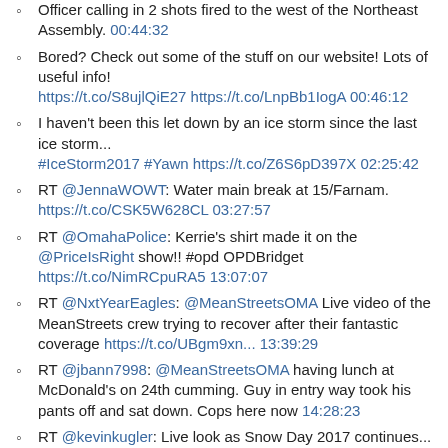Officer calling in 2 shots fired to the west of the Northeast Assembly. 00:44:32
Bored? Check out some of the stuff on our website! Lots of useful info! https://t.co/S8ujlQiE27 https://t.co/LnpBb1IogA 00:46:12
I haven't been this let down by an ice storm since the last ice storm... #IceStorm2017 #Yawn https://t.co/Z6S6pD397X 02:25:42
RT @JennaWOWT: Water main break at 15/Farnam. https://t.co/CSK5W628CL 03:27:57
RT @OmahaPolice: Kerrie's shirt made it on the @PriceIsRight show!! #opd OPDBridget https://t.co/NimRCpuRA5 13:07:07
RT @NxtYearEagles: @MeanStreetsOMA Live video of the MeanStreets crew trying to recover after their fantastic coverage https://t.co/UBgm9xn... 13:39:29
RT @jbann7998: @MeanStreetsOMA having lunch at McDonald's on 24th cumming. Guy in entry way took his pants off and sat down. Cops here now 14:28:23
RT @kevinkugler: Live look as Snow Day 2017 continues...